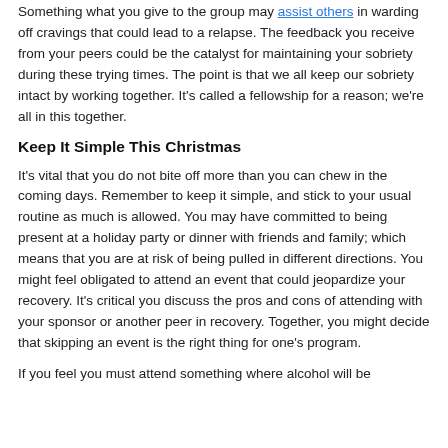Something what you give to the group may assist others in warding off cravings that could lead to a relapse. The feedback you receive from your peers could be the catalyst for maintaining your sobriety during these trying times. The point is that we all keep our sobriety intact by working together. It's called a fellowship for a reason; we're all in this together.
Keep It Simple This Christmas
It's vital that you do not bite off more than you can chew in the coming days. Remember to keep it simple, and stick to your usual routine as much is allowed. You may have committed to being present at a holiday party or dinner with friends and family; which means that you are at risk of being pulled in different directions. You might feel obligated to attend an event that could jeopardize your recovery. It's critical you discuss the pros and cons of attending with your sponsor or another peer in recovery. Together, you might decide that skipping an event is the right thing for one's program.
If you feel you must attend something where alcohol will be